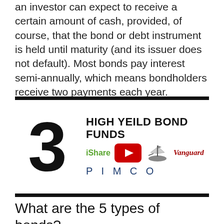an investor can expect to receive a certain amount of cash, provided, of course, that the bond or debt instrument is held until maturity (and its issuer does not default). Most bonds pay interest semi-annually, which means bondholders receive two payments each year.
[Figure (infographic): Thumbnail image showing '3 HIGH YEILD BOND FUNDS' with logos for iShares, YouTube play button, a ship (Vanguard), Vanguard text, and PIMCO]
What are the 5 types of bonds?